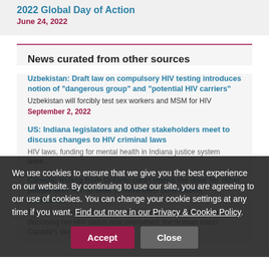2022 Global Day of Action
June 24, 2022
News curated from other sources
Uzbekistan: Draft law on compulsory HIV testing introduces notion of "dangerous group" and "potential HIV carriers"
Uzbekistan will forcibly test sex workers and MSM for HIV
September 2, 2022
US: Indiana legislators and other stakeholders meet to discuss changes to HIV criminal laws
HIV laws, funding for mental health in Indiana justice system were discussed
Canada: Ruling from Ontario court opens the door for other people with HIV to seek to have their convictions overturned
'I was made out to be a monster' - Woman has conviction for not disclosing her HIV status now overturned; the woman wants Canada's laws to change.
We use cookies to ensure that we give you the best experience on our website. By continuing to use our site, you are agreeing to our use of cookies. You can change your cookie settings at any time if you want. Find out more in our Privacy & Cookie Policy.